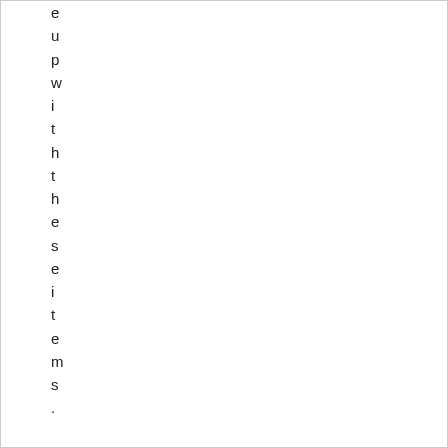e
u
p
w
i
t
h
t
h
e
s
e
i
t
e
m
s
.

O
n
a
m
o
s